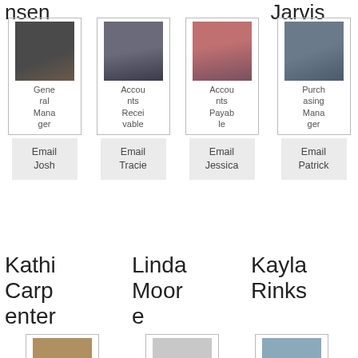nsen
Jarvis
[Figure (photo): Headshot of Josh, man with beard]
General Manager
[Figure (photo): Headshot of Tracie, woman]
Accounts Receivable
[Figure (photo): Headshot of Jessica, woman]
Accounts Payable
[Figure (photo): Headshot of Patrick, man with glasses]
Purchasing Manager
Email Josh
Email Tracie
Email Jessica
Email Patrick
Kathi Carpenter
Linda Moore
Kayla Rinks
[Figure (photo): Headshot of Kathi Carpenter]
Purch
[Figure (photo): Adidas logo placeholder for Linda Moore]
Huma
[Figure (photo): Headshot of Kayla Rinks]
Receptionist